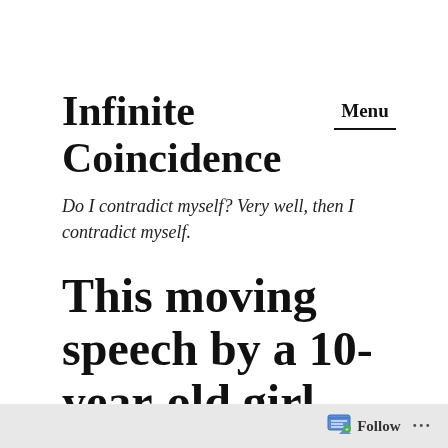Infinite Coincidence
Do I contradict myself? Very well, then I contradict myself.
Menu
This moving speech by a 10-year-old girl should make liberals think again
Follow ...